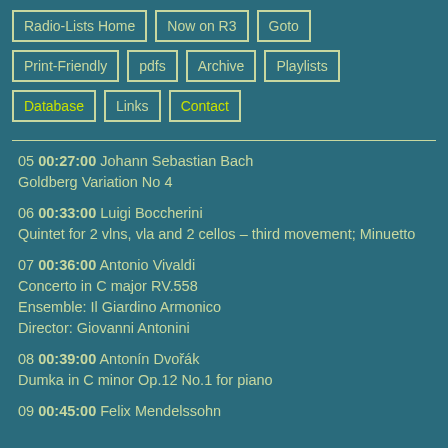Radio-Lists Home
Now on R3
Goto
Print-Friendly
pdfs
Archive
Playlists
Database
Links
Contact
05 00:27:00 Johann Sebastian Bach
Goldberg Variation No 4
06 00:33:00 Luigi Boccherini
Quintet for 2 vlns, vla and 2 cellos – third movement; Minuetto
07 00:36:00 Antonio Vivaldi
Concerto in C major RV.558
Ensemble: Il Giardino Armonico
Director: Giovanni Antonini
08 00:39:00 Antonín Dvořák
Dumka in C minor Op.12 No.1 for piano
09 00:45:00 Felix Mendelssohn